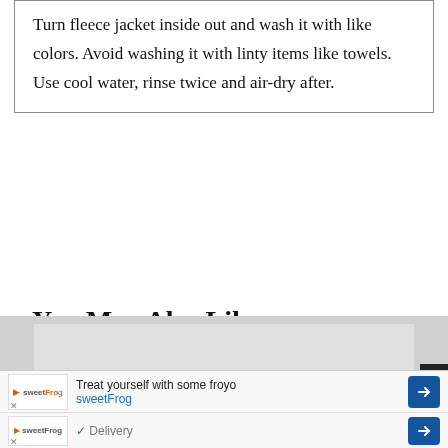Turn fleece jacket inside out and wash it with like colors. Avoid washing it with linty items like towels. Use cool water, rinse twice and air-dry after.
You May Also Like
The Best Outwear Brands To Buy Right Now
The Coolest Men's Jacket Brands
[Figure (photo): Partial view of a dark grey fleece jacket shown in a content recommendation widget area, with ad banners overlaid at the bottom]
Treat yourself with some froyo sweetFrog
Delivery